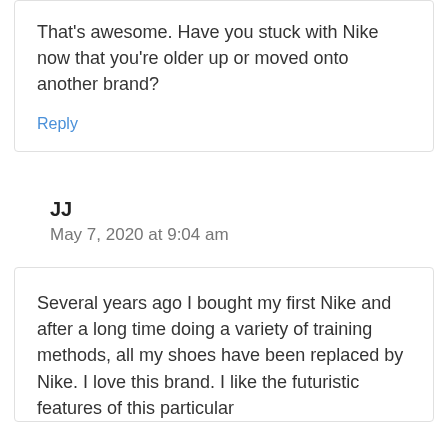That's awesome. Have you stuck with Nike now that you're older up or moved onto another brand?
Reply
JJ
May 7, 2020 at 9:04 am
Several years ago I bought my first Nike and after a long time doing a variety of training methods, all my shoes have been replaced by Nike. I love this brand. I like the futuristic features of this particular